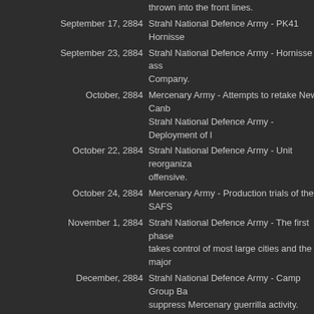| Date | Event |
| --- | --- |
|  | thrown into the front lines. |
| September 17, 2884 | Strahl National Defence Army - PK41 Hornisse |
| September 23, 2884 | Strahl National Defence Army - Hornisse is ass Company. |
| October, 2884 | Mercenary Army - Attempts to retake New Canb Strahl National Defence Army - Deployment of l |
| October 22, 2884 | Strahl National Defence Army - Unit reorganiza offensive. |
| October 24, 2884 | Mercenary Army - Production trials of the SAFS |
| November 1, 2884 | Strahl National Defence Army - The first phase takes control of most large cities and the major |
| December, 2884 | Strahl National Defence Army - Camp Group Ba suppress Mercenary guerrilla activity. |
| December 10, 2884 | Mercenary Army - SAFS production starts. |
| December 14, 2884 | Mercenary Army - Four suits of the newly comp Armored Hunting Regiment. |
| December 25, 2884 | Strahl National Defence Army - Launches majo of the few Mercenary controlled cities. Mercenary Army - First encounter between SAF Cracker being destroyed with a single shot by 1 Company's Corporal Robert Bush |
| January, 2885 | Mercenary Army - Trial productions of HAFS Je production begins. Mercenary Army - Are having a successful cam |
| January 1, 2885 | Strahl National Defence Army - Flight tests beg |